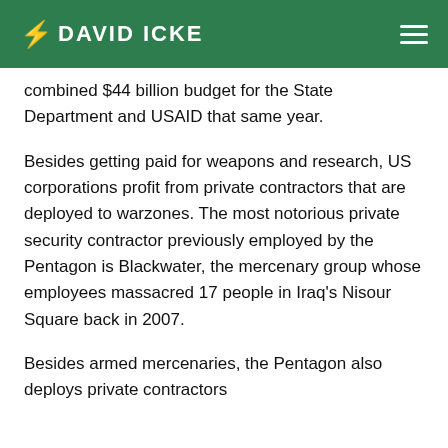DAVID ICKE
combined $44 billion budget for the State Department and USAID that same year.
Besides getting paid for weapons and research, US corporations profit from private contractors that are deployed to warzones. The most notorious private security contractor previously employed by the Pentagon is Blackwater, the mercenary group whose employees massacred 17 people in Iraq's Nisour Square back in 2007.
Besides armed mercenaries, the Pentagon also deploys private contractors...